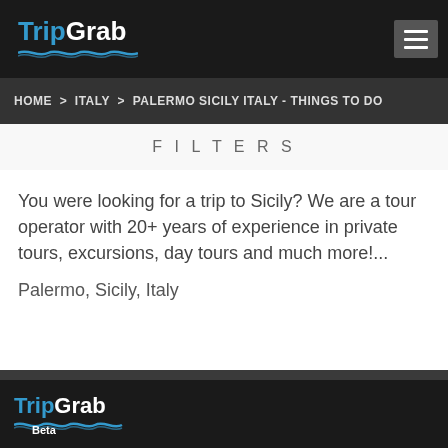TripGrab
HOME > ITALY > PALERMO SICILY ITALY - THINGS TO DO
FILTERS
You were looking for a trip to Sicily? We are a tour operator with 20+ years of experience in private tours, excursions, day tours and much more!...
Palermo, Sicily, Italy
TripGrab Beta